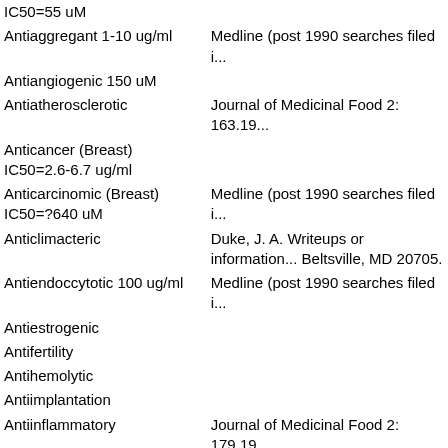| Activity/Dosage | Reference |
| --- | --- |
| IC50=55 uM |  |
| Antiaggregant 1-10 ug/ml | Medline (post 1990 searches filed i... |
| Antiangiogenic 150 uM |  |
| Antiatherosclerotic | Journal of Medicinal Food 2: 163.19... |
| Anticancer (Breast) IC50=2.6-6.7 ug/ml |  |
| Anticarcinomic (Breast) IC50=?640 uM | Medline (post 1990 searches filed i... |
| Anticlimacteric | Duke, J. A. Writeups or information... Beltsville, MD 20705. |
| Antiendoccytotic 100 ug/ml | Medline (post 1990 searches filed i... |
| Antiestrogenic |  |
| Antifertility |  |
| Antihemolytic |  |
| Antiimplantation |  |
| Antiinflammatory | Journal of Medicinal Food 2: 179.19... |
| Antiischemic | Medline (post 1990 searches filed i... |
| Antileukemic >50 ug/ml (185 uM) |  |
| Antileukemic IC50=0.010 ug/ml | Life Sciences 55: 1061. |
| Antileukotriene IC50=10-15 | Medline (post 1990 searches filed i... |